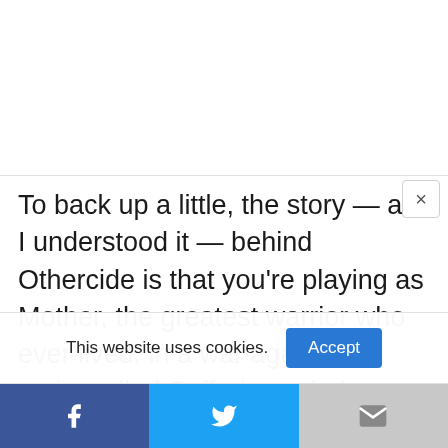To back up a little, the story — as I understood it — behind Othercide is that you're playing as Mother, the greatest warrior who ever lived, in a war against an entity called Suffering, who's trying to bring about the end of the world. To battle Suffering, you send your Daughters into battle. To do that, you need to "germinate" new daughters constantly so you can regularly replenish your
This website uses cookies.
Accept